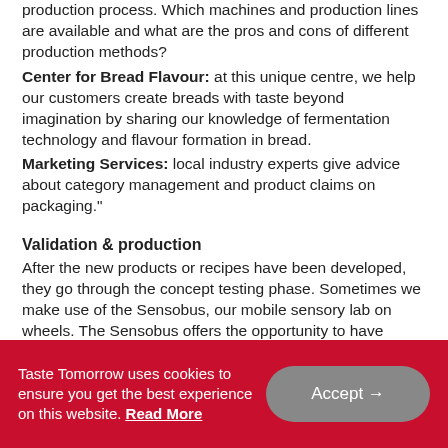production process. Which machines and production lines are available and what are the pros and cons of different production methods? Center for Bread Flavour: at this unique centre, we help our customers create breads with taste beyond imagination by sharing our knowledge of fermentation technology and flavour formation in bread. Marketing Services: local industry experts give advice about category management and product claims on packaging."
Validation & production
After the new products or recipes have been developed, they go through the concept testing phase. Sometimes we make use of the Sensobus, our mobile sensory lab on wheels. The Sensobus offers the opportunity to have consumers evaluate several versions of a new product on site. The results will then be taken into consideration during
Taste Tomorrow uses cookies to ensure you get the best experience on this website. Read More